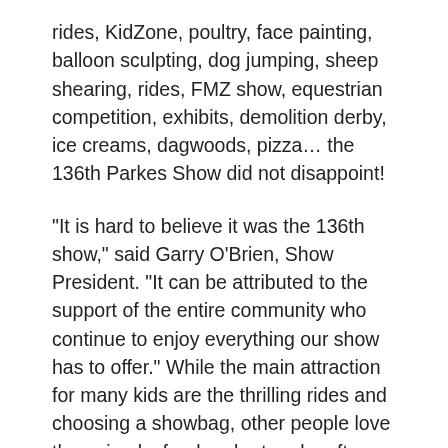rides, KidZone, poultry, face painting, balloon sculpting, dog jumping, sheep shearing, rides, FMZ show, equestrian competition, exhibits, demolition derby, ice creams, dagwoods, pizza… the 136th Parkes Show did not disappoint!
"It is hard to believe it was the 136th show," said Garry O'Brien, Show President. "It can be attributed to the support of the entire community who continue to enjoy everything our show has to offer." While the main attraction for many kids are the thrilling rides and choosing a showbag, other people love the animals, food and art and crafts on display.
One tradition going for more than 100 years is the Parkes District Exhibition that attracts a large number of visitors to the main pavilion. It is not only considered the crown